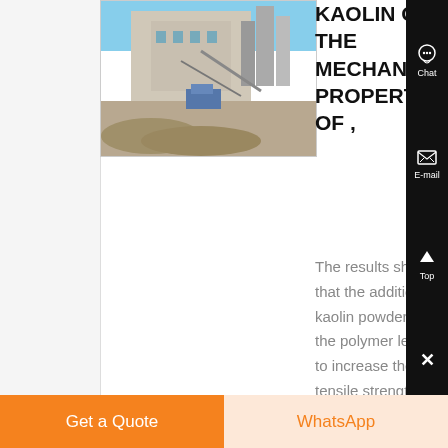[Figure (photo): Outdoor industrial/construction site with machinery and building in background, debris in foreground]
KAOLIN ON THE MECHANICAL PROPERTIES OF ,
The results show that the addition kaolin powder to the polymer lead to increase the tensile strength, modulus of elasticity, shoreD hardness and impact strength and it decreases
Get a Quote | WhatsApp